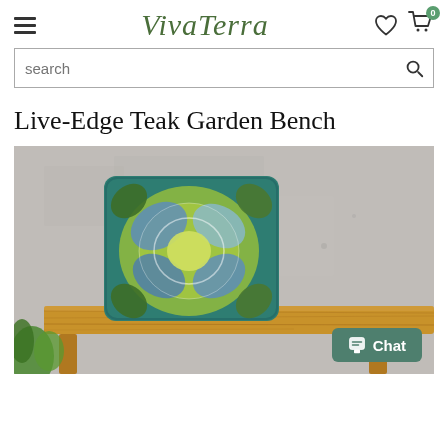VivaTerra
Live-Edge Teak Garden Bench
[Figure (photo): A decorative floral hooked pillow with blue, green, and white flower design sitting on a live-edge teak wooden bench against a concrete wall background, with a green plant visible at bottom left. A Chat button overlay is visible in the bottom right corner.]